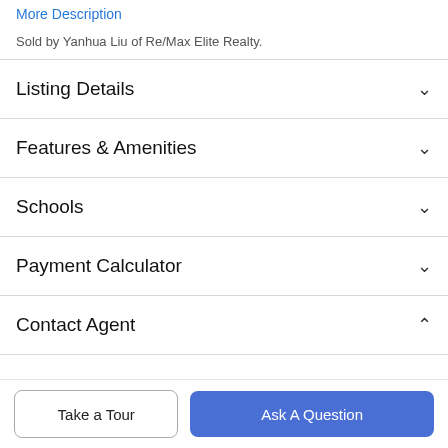More Description
Sold by Yanhua Liu of Re/Max Elite Realty.
Listing Details
Features & Amenities
Schools
Payment Calculator
Contact Agent
Take a Tour
Ask A Question